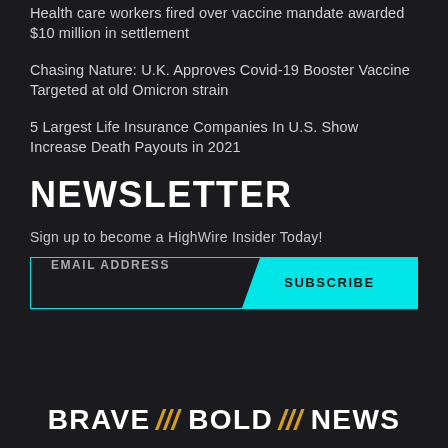Health care workers fired over vaccine mandate awarded $10 million in settlement
Chasing Nature: U.K. Approves Covid-19 Booster Vaccine Targeted at old Omicron strain
5 Largest Life Insurance Companies In U.S. Show Increase Death Payouts in 2021
NEWSLETTER
Sign up to become a HighWire Insider Today!
EMAIL ADDRESS  SUBSCRIBE
BRAVE /// BOLD /// NEWS